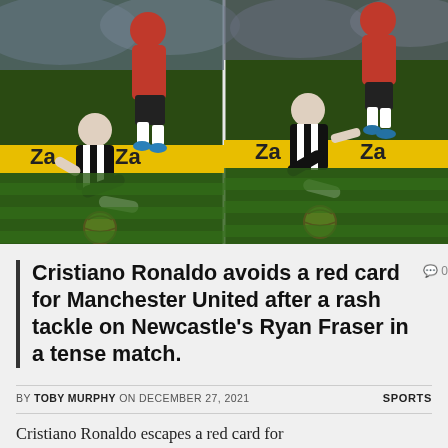[Figure (photo): Two side-by-side action photos of a soccer match. Left photo shows a player in red (Cristiano Ronaldo, Manchester United) tackling a player in black and white stripes (Ryan Fraser, Newcastle), who is falling forward near the ball. Right photo shows another angle of the same tackle, with Fraser being pushed or tripped by Ronaldo. Advertisement boards with 'Za' branding visible in the background.]
Cristiano Ronaldo avoids a red card for Manchester United after a rash tackle on Newcastle's Ryan Fraser in a tense match.
0
BY TOBY MURPHY ON DECEMBER 27, 2021    SPORTS
Cristiano Ronaldo escapes a red card for